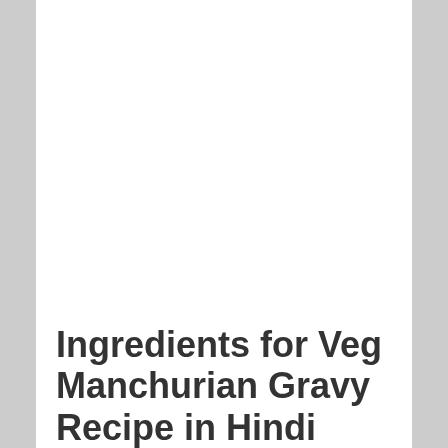Ingredients for Veg Manchurian Gravy Recipe in Hindi